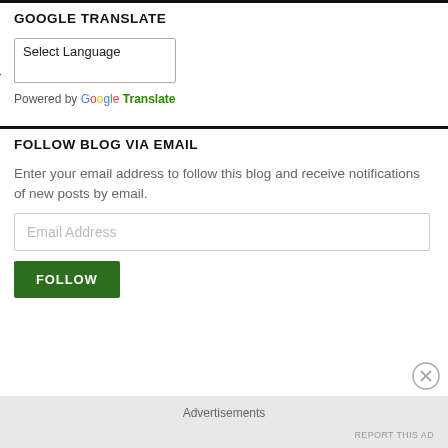GOOGLE TRANSLATE
[Figure (screenshot): Google Translate widget with a 'Select Language' dropdown and 'Powered by Google Translate' text]
FOLLOW BLOG VIA EMAIL
Enter your email address to follow this blog and receive notifications of new posts by email.
Email Address
FOLLOW
Advertisements
REPORT THIS AD